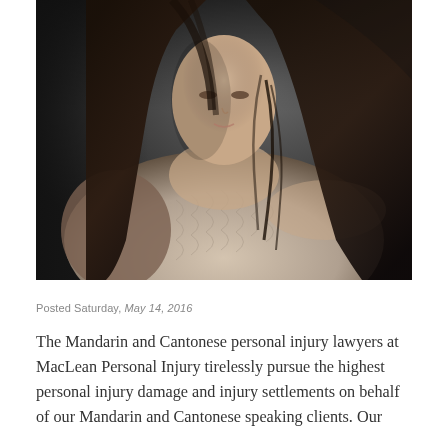[Figure (photo): A young woman with long dark hair wearing an off-shoulder cream cable-knit sweater, photographed against a dark gray background in a moody, dramatic style.]
Posted Saturday, May 14, 2016
The Mandarin and Cantonese personal injury lawyers at MacLean Personal Injury tirelessly pursue the highest personal injury damage and injury settlements on behalf of our Mandarin and Cantonese speaking clients. Our